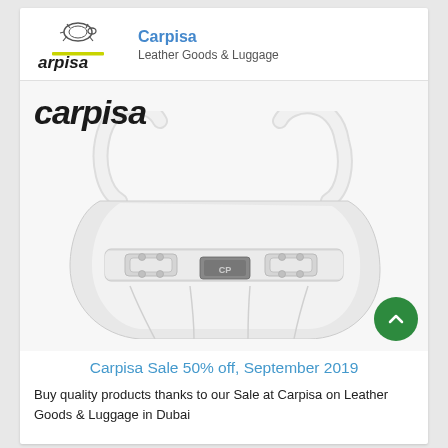[Figure (logo): Carpisa brand logo with turtle icon and yellow underline, partly cropped, showing 'arpisa' text]
Carpisa
Leather Goods & Luggage
[Figure (photo): White Carpisa leather handbag with double handles, silver buckle hardware, and pleated body on white background. 'carpisa' wordmark in dark italic text at top left.]
Carpisa Sale 50% off, September 2019
Buy quality products thanks to our Sale at Carpisa on Leather Goods & Luggage in Dubai